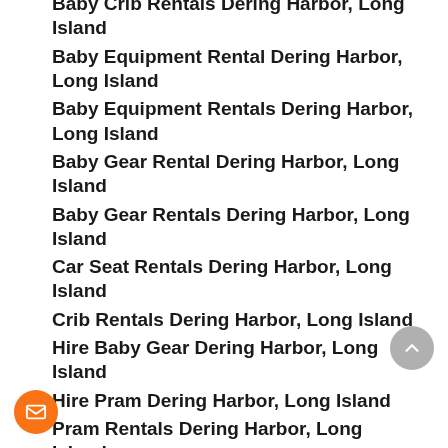Baby Crib Rentals Dering Harbor, Long Island
Baby Equipment Rental Dering Harbor, Long Island
Baby Equipment Rentals Dering Harbor, Long Island
Baby Gear Rental Dering Harbor, Long Island
Baby Gear Rentals Dering Harbor, Long Island
Car Seat Rentals Dering Harbor, Long Island
Crib Rentals Dering Harbor, Long Island
Hire Baby Gear Dering Harbor, Long Island
Hire Pram Dering Harbor, Long Island
Pram Rentals Dering Harbor, Long Island
Rent a Baby Crib Dering Harbor, Long Island
Rent a Car Seat Dering Harbor, Long Island
Rent a Stroller Dering Harbor, Long Island
Rent Baby Crib Dering Harbor, Long Island
Rent Baby Gear Dering Harbor, Long Island
Rent Booster Seat Dering Harbor, Long Island
Rent Car Seat Dering Harbor, Long Island